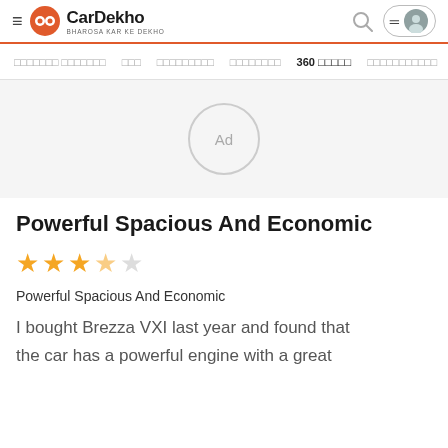CarDekho - BHAROSA KAR KE DEKHO
[Figure (logo): CarDekho logo with orange circular icon and text 'CarDekho' with tagline 'BHAROSA KAR KE DEKHO']
xxxxxxx xxxxxxx  xxx  xxxxxxxxx  xxxxxxxx  360 xxxxx  xxxxxxxxxxx  xxx
[Figure (other): Advertisement placeholder area with 'Ad' label in a circle on grey background]
Powerful Spacious And Economic
[Figure (other): 3.5 out of 5 star rating shown with filled and empty stars]
Powerful Spacious And Economic
I bought Brezza VXI last year and found that the car has a powerful engine with a great